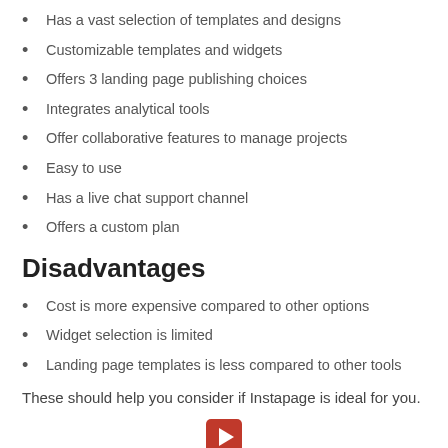Has a vast selection of templates and designs
Customizable templates and widgets
Offers 3 landing page publishing choices
Integrates analytical tools
Offer collaborative features to manage projects
Easy to use
Has a live chat support channel
Offers a custom plan
Disadvantages
Cost is more expensive compared to other options
Widget selection is limited
Landing page templates is less compared to other tools
These should help you consider if Instapage is ideal for you.
[Figure (other): Red play button icon at bottom center]